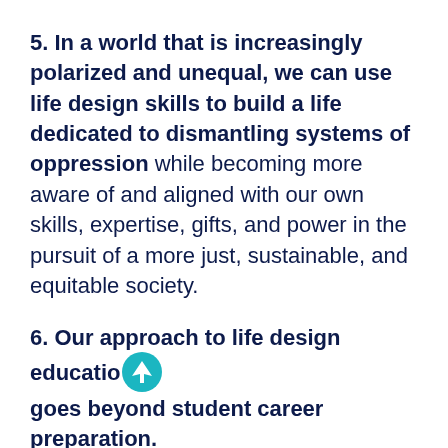5. In a world that is increasingly polarized and unequal, we can use life design skills to build a life dedicated to dismantling systems of oppression while becoming more aware of and aligned with our own skills, expertise, gifts, and power in the pursuit of a more just, sustainable, and equitable society.
6. Our approach to life design education goes beyond student career preparation. These practices can be used to respond